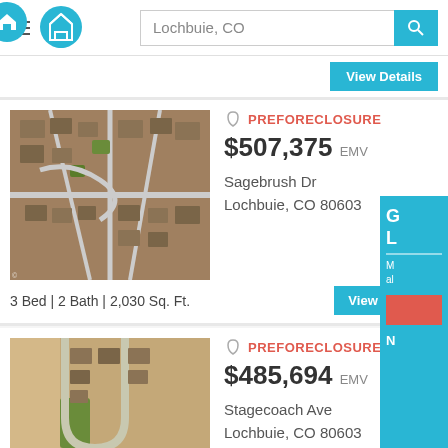Lochbuie, CO
View Details
PREFORECLOSURE
$507,375 EMV
Sagebrush Dr
Lochbuie, CO 80603
[Figure (photo): Aerial satellite view of residential neighborhood in Lochbuie, CO]
3 Bed | 2 Bath | 2,030 Sq. Ft.
View Details
PREFORECLOSURE
$485,694 EMV
Stagecoach Ave
Lochbuie, CO 80603
[Figure (photo): Aerial satellite view of residential subdivision in Lochbuie, CO]
View Details